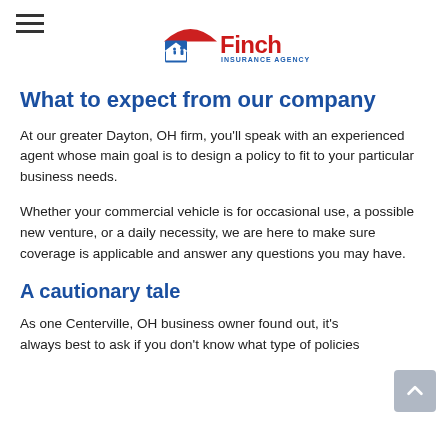[Figure (logo): Finch Insurance Agency logo — red umbrella above blue house/family icon, with 'Finch' in red and 'INSURANCE AGENCY' in blue]
What to expect from our company
At our greater Dayton, OH firm, you'll speak with an experienced agent whose main goal is to design a policy to fit to your particular business needs.
Whether your commercial vehicle is for occasional use, a possible new venture, or a daily necessity, we are here to make sure coverage is applicable and answer any questions you may have.
A cautionary tale
As one Centerville, OH business owner found out, it's always best to ask if you don't know what type of policies